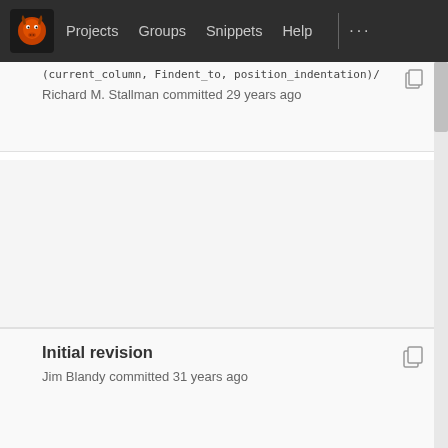Projects  Groups  Snippets  Help
(current_column, Findent_to_position_indentation)/
Richard M. Stallman committed 29 years ago
Initial revision
Jim Blandy committed 31 years ago